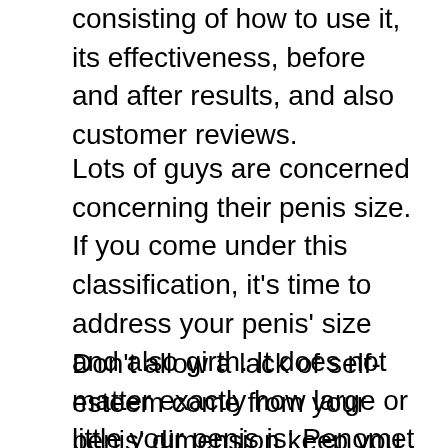consisting of how to use it, its effectiveness, before and after results, and also customer reviews.
Lots of guys are concerned concerning their penis size. If you come under this classification, it's time to address your penis' size and also girth. It does not matter exactly how large or little your penis is; Penomet can assist you obtain the outcomes you desire.
Don't allow a lack of self-esteem come from your penis' dimension keep you down; do something about it. Penomet guarantees that its innovative pump and the exercises constructed around it will produce results. When it involves altering the one part of your body that you never ever thought would